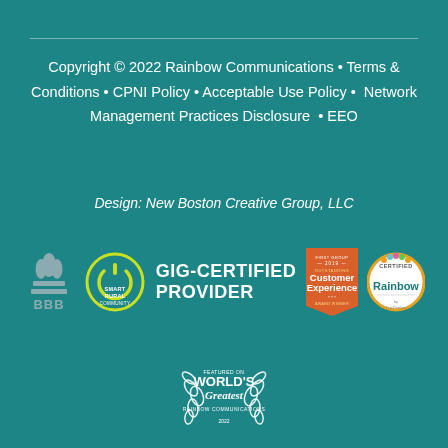Copyright © 2022 Rainbow Communications • Terms & Conditions • CPNI Policy • Acceptable Use Policy • Network Management Practices Disclosure • EEO
Design: New Boston Creative Group, LLC
[Figure (logo): BBB Better Business Bureau logo (gray), Smart Rural Community logo (yellow/white circular), GIG-CERTIFIED PROVIDER text logo (white), Outstanding Customer Experience 2019 Award Winner badge (orange), Rainbow Certified badge (orange/yellow circle)]
[Figure (logo): World's Greatest - Rainbow Communications 2022 laurel wreath badge (white)]